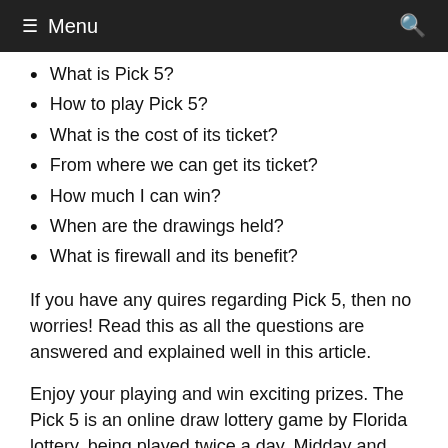≡ Menu
What is Pick 5?
How to play Pick 5?
What is the cost of its ticket?
From where we can get its ticket?
How much I can win?
When are the drawings held?
What is firewall and its benefit?
If you have any quires regarding Pick 5, then no worries! Read this as all the questions are answered and explained well in this article.
Enjoy your playing and win exciting prizes. The Pick 5 is an online draw lottery game by Florida lottery, being played twice a day, Midday and Evening.